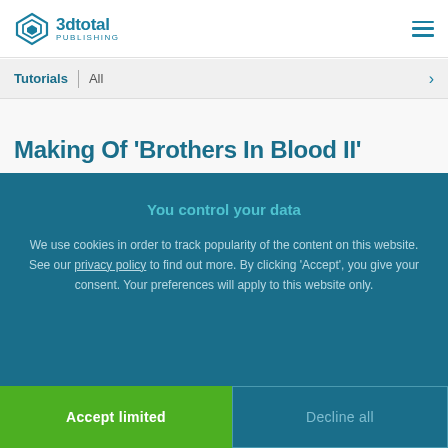3dtotal Publishing
Tutorials | All
Making Of 'Brothers In Blood II'
You control your data
We use cookies in order to track popularity of the content on this website. See our privacy policy to find out more. By clicking 'Accept', you give your consent. Your preferences will apply to this website only.
Accept limited
Decline all